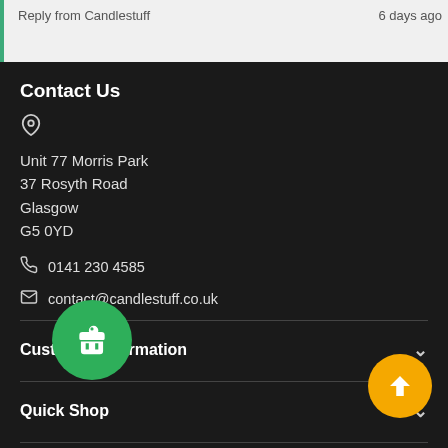Reply from Candlestuff   6 days ago
Contact Us
Unit 77 Morris Park
37 Rosyth Road
Glasgow
G5 0YD
0141 230 4585
contact@candlestuff.co.uk
Customer Information
Quick Shop
Stay Connected
Facebook